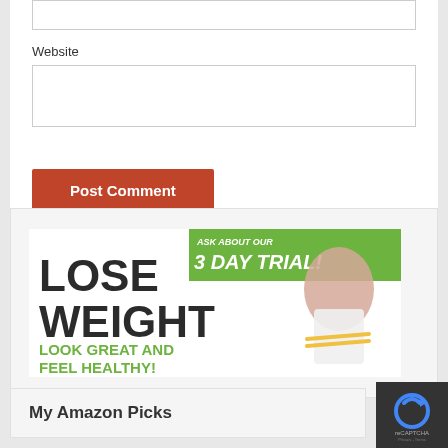Website
[Figure (illustration): Lose Weight - Look Great and Feel Healthy! Ask about our 3 Day Trial! Shake Up Your Diet! Advertisement banner with woman in white sports bra holding a measuring tape around her waist.]
My Amazon Picks